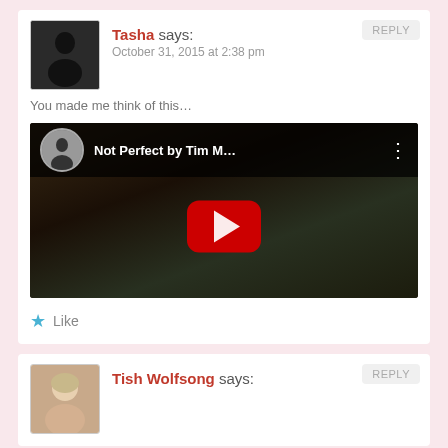REPLY
Tasha says:
October 31, 2015 at 2:38 pm
You made me think of this…
[Figure (screenshot): YouTube video thumbnail for 'Not Perfect by Tim M...' with a play button in the center and YouTube-style dark background]
Like
REPLY
Tish Wolfsong says: